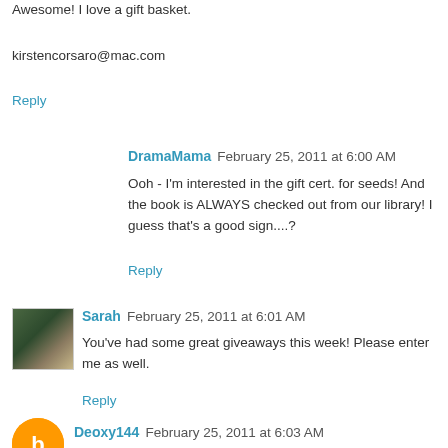Awesome! I love a gift basket.
kirstencorsaro@mac.com
Reply
DramaMama  February 25, 2011 at 6:00 AM
Ooh - I'm interested in the gift cert. for seeds! And the book is ALWAYS checked out from our library! I guess that's a good sign....?
Reply
Sarah  February 25, 2011 at 6:01 AM
You've had some great giveaways this week! Please enter me as well.
Reply
Deoxy144  February 25, 2011 at 6:03 AM